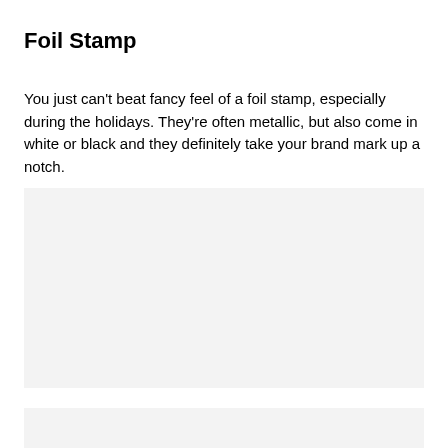Foil Stamp
You just can't beat fancy feel of a foil stamp, especially during the holidays. They're often metallic, but also come in white or black and they definitely take your brand mark up a notch.
[Figure (photo): A light gray placeholder image area showing a foil stamp product example]
[Figure (photo): A second light gray placeholder image area partially visible at the bottom of the page]